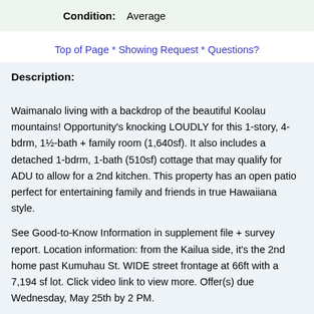Condition: Average
Top of Page * Showing Request * Questions?
Description:
Waimanalo living with a backdrop of the beautiful Koolau mountains! Opportunity's knocking LOUDLY for this 1-story, 4-bdrm, 1½-bath + family room (1,640sf). It also includes a detached 1-bdrm, 1-bath (510sf) cottage that may qualify for ADU to allow for a 2nd kitchen. This property has an open patio perfect for entertaining family and friends in true Hawaiiana style.
See Good-to-Know Information in supplement file + survey report. Location information: from the Kailua side, it's the 2nd home past Kumuhau St. WIDE street frontage at 66ft with a 7,194 sf lot. Click video link to view more. Offer(s) due Wednesday, May 25th by 2 PM.